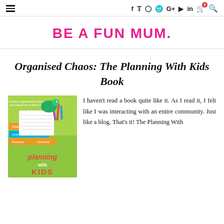BE A FUN MUM. navigation header with social icons
BE A FUN MUM.
Organised Chaos: The Planning With Kids Book
[Figure (illustration): Book cover of 'Planning With Kids' - a colourful book showing tabs labelled Meals, Activities, Finances, Schedule with pencils and a dinosaur on top. Subtitle: A guide to organising the chaos and making time for family fun.]
I haven't read a book quite like it. As I read it, I felt like I was interacting with an entire community. Just like a blog. That's it! The Planning With